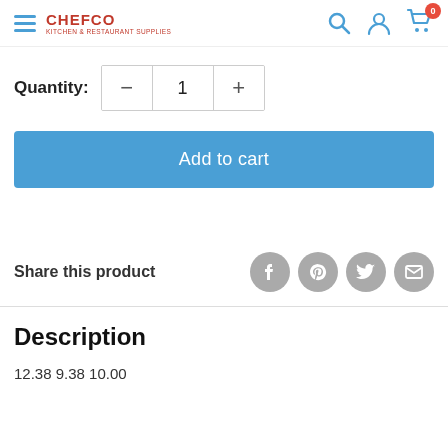CHEFCO KITCHEN & RESTAURANT SUPPLIES
Quantity: 1
Add to cart
Share this product
Description
12.38 9.38 10.00